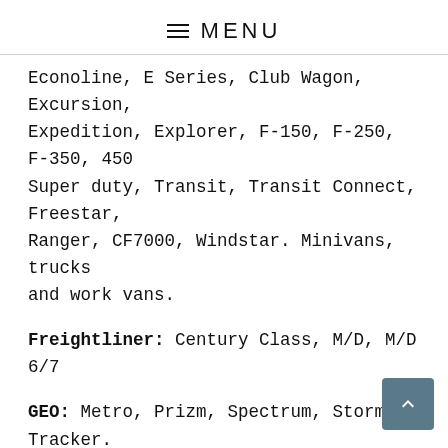≡ MENU
Econoline, E Series, Club Wagon, Excursion, Expedition, Explorer, F-150, F-250, F-350, 450 Super duty, Transit, Transit Connect, Freestar, Ranger, CF7000, Windstar. Minivans, trucks and work vans.
Freightliner: Century Class, M/D, M/D 6/7
GEO: Metro, Prizm, Spectrum, Storm, Tracker.
GMC Trucks: Acadia, Canyon Pickup, Denali, Envoy, FSR, FRR, FTR, W4, W5, Jimmy, NPR, NRR, W4, W5, NQR, Savana, Passanger Van, Cargo Van, Safari, Sierra, Denali, Yukon,